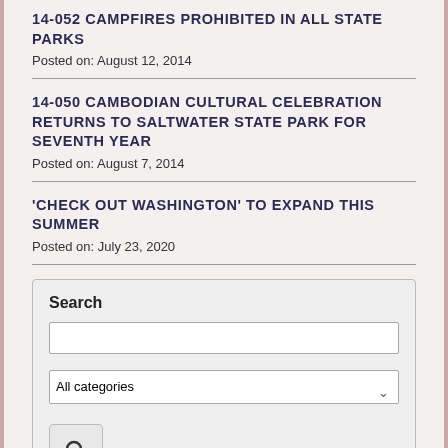14-052 CAMPFIRES PROHIBITED IN ALL STATE PARKS
Posted on: August 12, 2014
14-050 CAMBODIAN CULTURAL CELEBRATION RETURNS TO SALTWATER STATE PARK FOR SEVENTH YEAR
Posted on: August 7, 2014
'CHECK OUT WASHINGTON' TO EXPAND THIS SUMMER
Posted on: July 23, 2020
Search
All categories
TOOLS